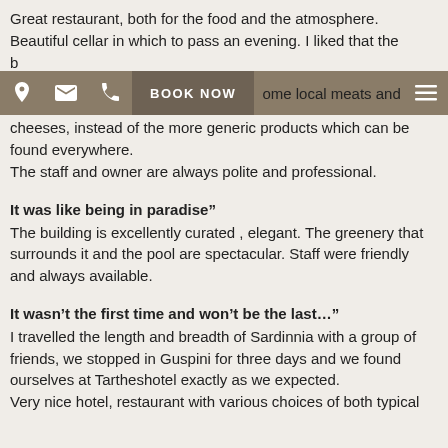Great restaurant, both for the food and the atmosphere. Beautiful cellar in which to pass an evening. I liked that the b[ar] fo[od] th[at] or[ders] [s]ome local meats and cheeses, instead of the more generic products which can be found everywhere.
The staff and owner are always polite and professional.
[Figure (screenshot): Navigation bar with location, email, phone icons, BOOK NOW button, and hamburger menu on brown background]
It was like being in paradise”
The building is excellently curated , elegant. The greenery that surrounds it and the pool are spectacular. Staff were friendly and always available.
It wasn’t the first time and won’t be the last…”
I travelled the length and breadth of Sardinnia with a group of friends, we stopped in Guspini for three days and we found ourselves at Tartheshotel exactly as we expected.
Very nice hotel, restaurant with various choices of both typical